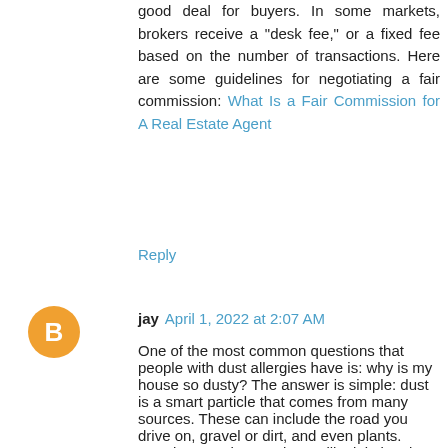good deal for buyers. In some markets, brokers receive a "desk fee," or a fixed fee based on the number of transactions. Here are some guidelines for negotiating a fair commission: What Is a Fair Commission for A Real Estate Agent
Reply
jay April 1, 2022 at 2:07 AM
One of the most common questions that people with dust allergies have is: why is my house so dusty? The answer is simple: dust is a smart particle that comes from many sources. These can include the road you drive on, gravel or dirt, and even plants. Keeping your house clean will minimize dust in your home and save you time and money. Here are some tips to keep your home dust-free: Why Is My House So Dusty
Reply
jay April 1, 2022 at 2:07 AM